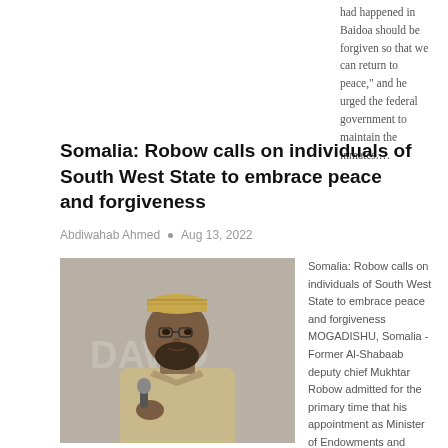had happened in Baidoa should be forgiven so that we can return to peace," and he urged the federal government to maintain the inmates.…
Somalia: Robow calls on individuals of South West State to embrace peace and forgiveness
Abdiwahab Ahmed  •  Aug 13, 2022
[Figure (photo): Man speaking into microphone wearing traditional cap and tan shirt, with EAST AFRICA badge overlay]
Somalia: Robow calls on individuals of South West State to embrace peace and forgiveness MOGADISHU, Somalia - Former Al-Shabaab deputy chief Mukhtar Robow admitted for the primary time that his appointment as Minister of Endowments and Religious Affairs was not a fashionable thought among the many Somali individuals